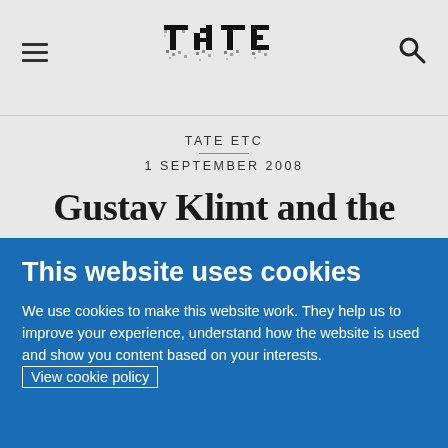TATE
TATE ETC
1 SEPTEMBER 2008
Gustav Klimt and the 1908 Kunstschau
Gustav Klimt and the 1908 Kunstschau
SIMON GRANT
This website uses cookies
We use cookies to make this website work. They help us to improve your experience, understand how the website is used and show you content based on your interests. View cookie policy